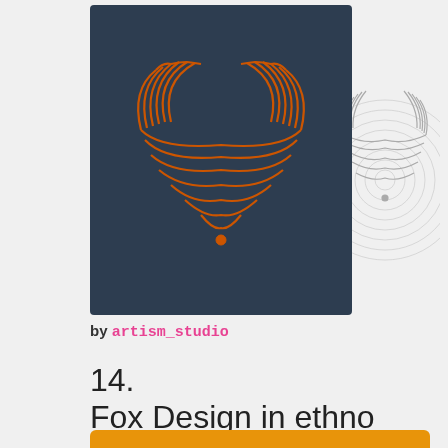[Figure (illustration): Fox geometric logo on dark navy background with orange line-art fox face composed of concentric curved lines forming ears, face, and body]
[Figure (illustration): Same fox geometric logo in light gray on white/light background showing construction grid circles and lines]
by artism_studio
14.
Fox Design in ethno style
[Figure (illustration): Fox illustration in ethno style on orange background, black silhouette fox with decorative dotted tail curl, walking pose]